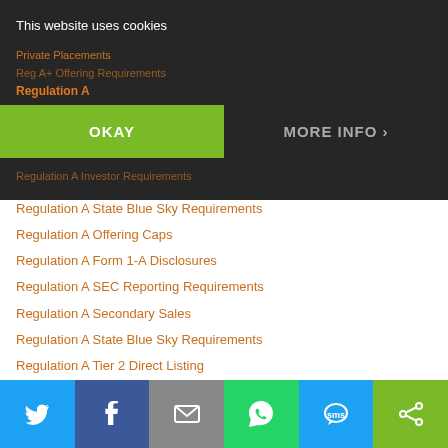[Figure (screenshot): Cookie consent banner overlay with OKAY and MORE INFO buttons over a navigation list of legal regulation topics]
Regulation A State Blue Sky Requirements
Regulation A Offering Caps
Regulation A Form 1-A Disclosures
Regulation A SEC Reporting Requirements
Regulation A Secondary Sales
Regulation A State Blue Sky Requirements
Regulation A Tier 2 Direct Listing
Regulation A Testing the Waters
Regulation A Q&A
Regulation A Form 1-A Disclosures
Regulation CF
Regulation CF Reporting Requirements
Regulation D
Regulation D Bad Actor Ban
Restricted Legend Removal
Restricted Stock
Reverse Mergers
Reverse Merger Game Changers